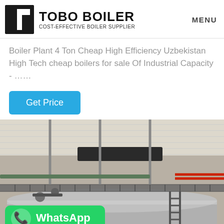TOBO BOILER — COST-EFFECTIVE BOILER SUPPLIER — MENU
Boiler Plant 4 Ton Cheap High Efficiency Uzbekistan High Tech cheap boilers for sale Of Industrial Capacity - ……
Get Price
[Figure (photo): Industrial boiler installation inside a warehouse facility, showing a large horizontal cylindrical boiler with metal piping, walkway grating, ladder, and red pipes. A green WhatsApp badge with icon and text 'WhatsApp' is overlaid at the lower left of the image.]